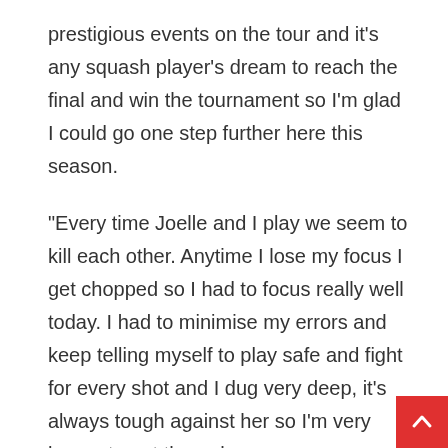prestigious events on the tour and it's any squash player's dream to reach the final and win the tournament so I'm glad I could go one step further here this season.
“Every time Joelle and I play we seem to kill each other. Anytime I lose my focus I get chopped so I had to focus really well today. I had to minimise my errors and keep telling myself to play safe and fight for every shot and I dug very deep, it’s always tough against her so I’m very happy to get through.
“Nouran is World No.1, she’s been winning all the big events but you can never predict, but I hope it goes to five as well so hopefully I can watch them fight it out